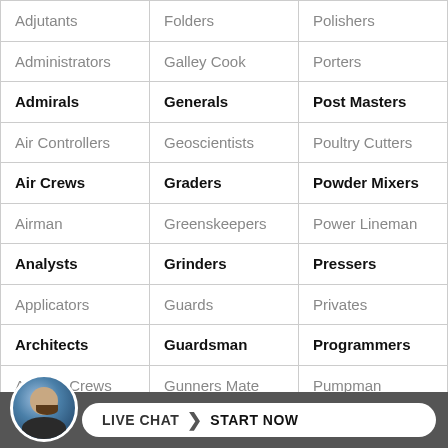| Adjutants | Folders | Polishers |
| Administrators | Galley Cook | Porters |
| Admirals | Generals | Post Masters |
| Air Controllers | Geoscientists | Poultry Cutters |
| Air Crews | Graders | Powder Mixers |
| Airman | Greenskeepers | Power Lineman |
| Analysts | Grinders | Pressers |
| Applicators | Guards | Privates |
| Architects | Guardsman | Programmers |
| Artillery Crews | Gunners Mate | Pumpman |
| As... | ... | ... |
[Figure (other): Live chat widget footer bar with avatar photo of a bald bearded man in a suit and a white rounded button reading LIVE CHAT > START NOW on a gray background]